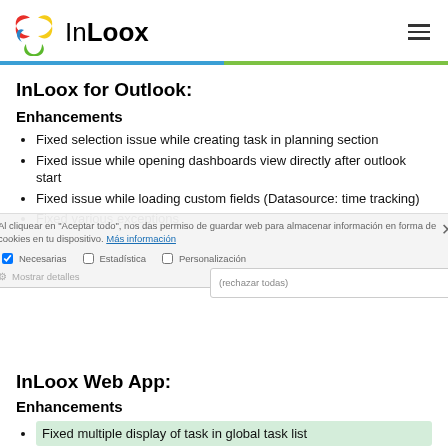InLoox
InLoox for Outlook:
Enhancements
Fixed selection issue while creating task in planning section
Fixed issue while opening dashboards view directly after outlook start
Fixed issue while loading custom fields (Datasource: time tracking)
Fixed various exceptions
InLoox Web App:
Enhancements
Fixed multiple display of task in global task list
Fixed issues in Offline Sync